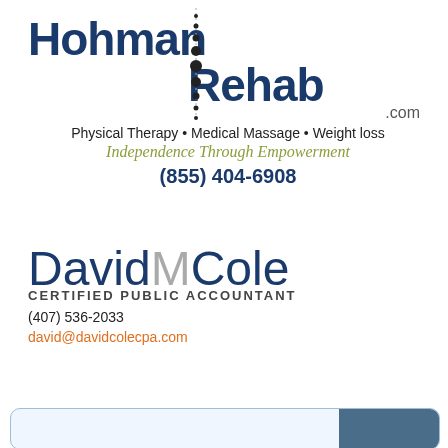[Figure (logo): Hohman Rehab logo with spine graphic dots between the two words, and '.com' below]
Physical Therapy • Medical Massage • Weight loss
Independence Through Empowerment
(855) 404-6908
[Figure (logo): David MCole logo - David and Cole in dark blue, M in gray]
CERTIFIED PUBLIC ACCOUNTANT
(407) 536-2033
david@davidcolecpa.com
[Figure (other): Partial business card with rounded border and blue photo area visible at bottom]